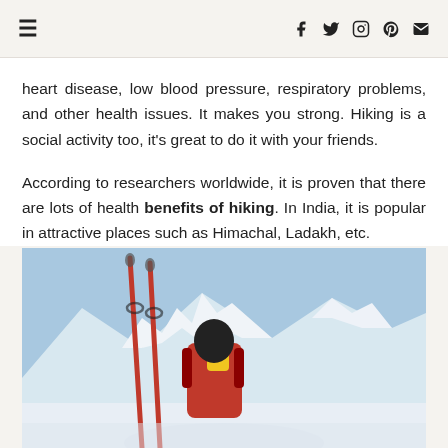☰  [social icons: facebook, twitter, instagram, pinterest, email]
heart disease, low blood pressure, respiratory problems, and other health issues. It makes you strong. Hiking is a social activity too, it's great to do it with your friends.
According to researchers worldwide, it is proven that there are lots of health benefits of hiking. In India, it is popular in attractive places such as Himachal, Ladakh, etc.
[Figure (photo): A hiker with red and black backpack carrying yellow equipment, with red ski poles/trekking poles in the foreground, set against a snowy mountain landscape with blue sky.]